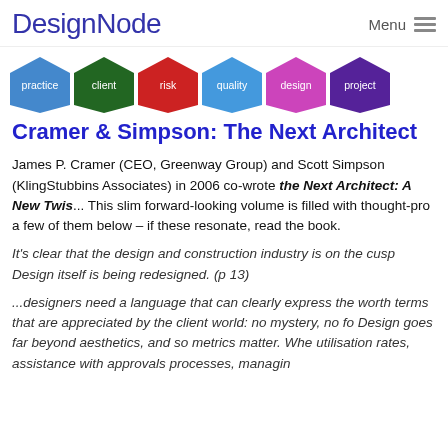DesignNode   Menu ☰
[Figure (infographic): Six colored hexagons labeled: practice (blue), client (dark green), risk (red), quality (blue), design (magenta/pink), project (dark purple)]
Cramer & Simpson: The Next Architect
James P. Cramer (CEO, Greenway Group) and Scott Simpson (KlingStubbins Associates) in 2006 co-wrote the Next Architect: A New Twist on an Old Idea. This slim forward-looking volume is filled with thought-provoking ideas. I share a few of them below – if these resonate, read the book.
It's clear that the design and construction industry is on the cusp of change. Design itself is being redesigned. (p 13)
...designers need a language that can clearly express the worth of design in terms that are appreciated by the client world: no mystery, no fog. Design goes far beyond aesthetics, and so metrics matter. Whether it's utilisation rates, assistance with approvals processes, managing...